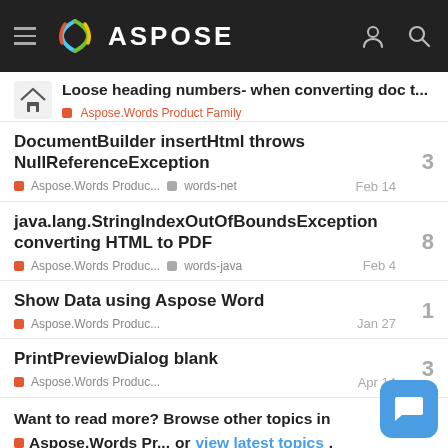ASPOSE
Loose heading numbers- when converting doc t...
Aspose.Words Product Family
DocumentBuilder insertHtml throws NullReferenceException
Aspose.Words Produc... words-net Feb 14 3
java.lang.StringIndexOutOfBoundsException converting HTML to PDF
Aspose.Words Produc... words-java Feb 4 8
Show Data using Aspose Word
Aspose.Words Produc... Jan 27 1
PrintPreviewDialog blank
Aspose.Words Produc... Apr 14 3
Want to read more? Browse other topics in Aspose.Words Pr... or view latest topics.